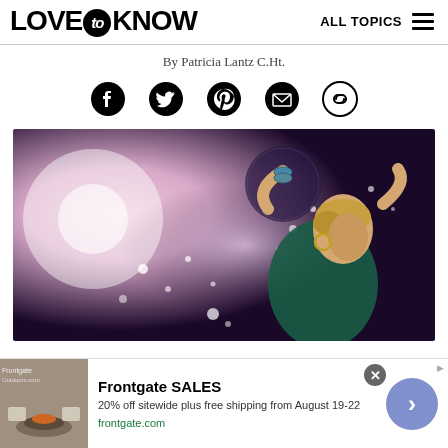LOVE to KNOW  ALL TOPICS
By Patricia Lantz C.Ht.
[Figure (illustration): Social media sharing icons: Facebook, Twitter, Pinterest, Email, Link]
[Figure (illustration): Digital illustration of a woman dancing with arms raised, wearing bracelets and hoop earrings, against a purple and pink glowing background with sparkles and a disco ball]
Frontgate SALES
20% off sitewide plus free shipping from August 19-22
frontgate.com